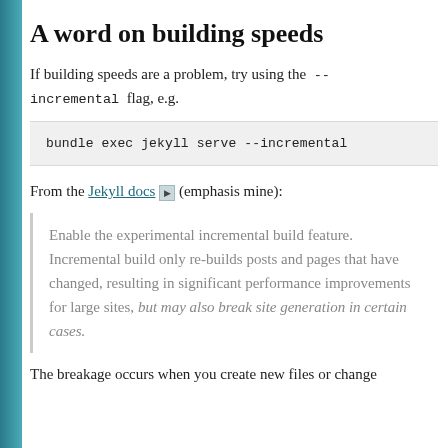A word on building speeds
If building speeds are a problem, try using the --incremental flag, e.g.
bundle exec jekyll serve --incremental
From the Jekyll docs ⧉ (emphasis mine):
Enable the experimental incremental build feature. Incremental build only re-builds posts and pages that have changed, resulting in significant performance improvements for large sites, but may also break site generation in certain cases.
The breakage occurs when you create new files or change